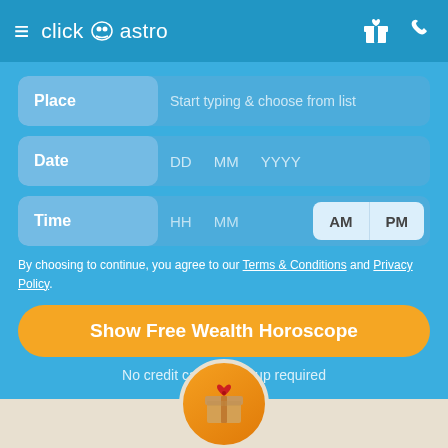click astro
Place — Start typing & choose from list
Date — DD MM YYYY
Time — HH MM AM PM
By choosing to continue, you agree to our Terms & Conditions and Privacy Policy.
Show Free Wealth Horoscope
No credit card or signup required
Free Wealth Horoscope in Hindi (More than 6 pages premium report)